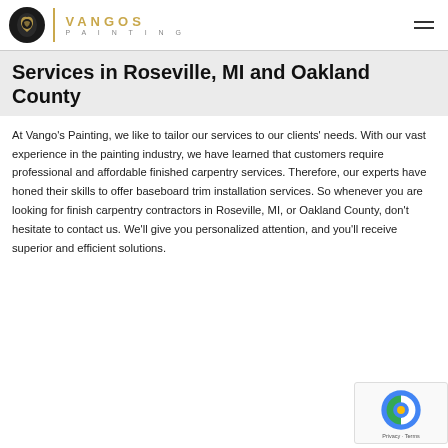Vangos Painting logo and navigation
Services in Roseville, MI and Oakland County
At Vango's Painting, we like to tailor our services to our clients' needs. With our vast experience in the painting industry, we have learned that customers require professional and affordable finished carpentry services. Therefore, our experts have honed their skills to offer baseboard trim installation services. So whenever you are looking for finish carpentry contractors in Roseville, MI, or Oakland County, don't hesitate to contact us. We'll give you personalized attention, and you'll receive superior and efficient solutions.